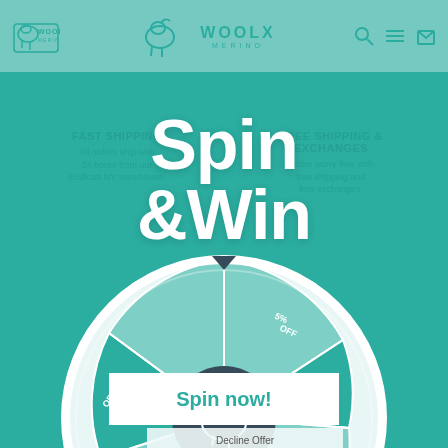[Figure (screenshot): WoolX Merino website screenshot showing a 'Spin & Win' promotional popup overlay on a teal background. The popup features large white text reading 'Spin & Win', a spin wheel at the bottom showing discount segments (5% OFF, 10% OFF, etc.), a white button panel with 'Spin now!' in teal, and a 'Decline Offer' link. The background shows the WoolX Merino logo in the top navigation and faded text about 'Fast Shipping' and 'Free Exchanges'.]